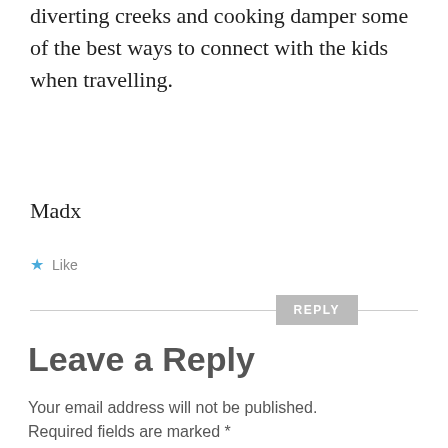diverting creeks and cooking damper some of the best ways to connect with the kids when travelling.
Madx
★ Like
REPLY
Leave a Reply
Your email address will not be published. Required fields are marked *